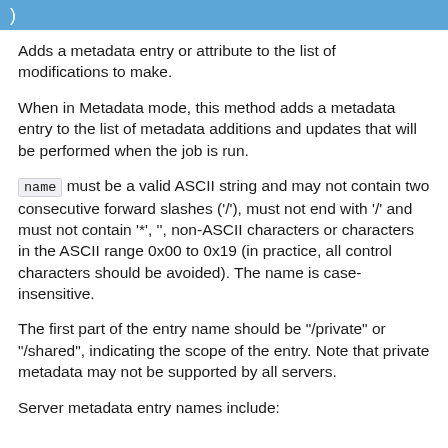)
Adds a metadata entry or attribute to the list of modifications to make.
When in Metadata mode, this method adds a metadata entry to the list of metadata additions and updates that will be performed when the job is run.
name must be a valid ASCII string and may not contain two consecutive forward slashes ('/'), must not end with '/' and must not contain '*', '', non-ASCII characters or characters in the ASCII range 0x00 to 0x19 (in practice, all control characters should be avoided). The name is case-insensitive.
The first part of the entry name should be "/private" or "/shared", indicating the scope of the entry. Note that private metadata may not be supported by all servers.
Server metadata entry names include: